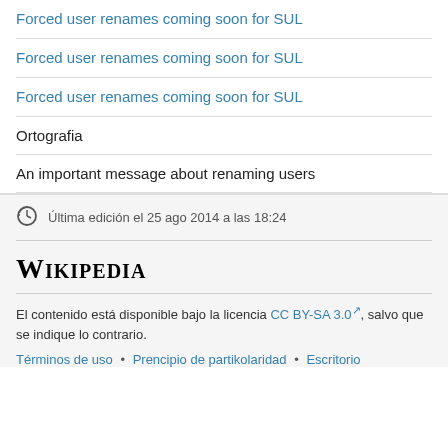Forced user renames coming soon for SUL
Forced user renames coming soon for SUL
Forced user renames coming soon for SUL
Ortografia
An important message about renaming users
Última edición el 25 ago 2014 a las 18:24
Wikipedia
El contenido está disponible bajo la licencia CC BY-SA 3.0, salvo que se indique lo contrario.
Términos de uso • Prencipio de partikolaridad • Escritorio